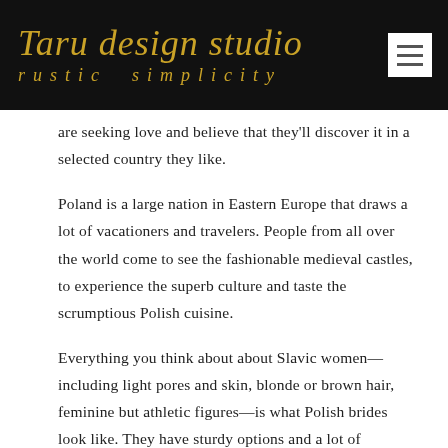Taru design studio
rustic  simplicity
are seeking love and believe that they'll discover it in a selected country they like.
Poland is a large nation in Eastern Europe that draws a lot of vacationers and travelers. People from all over the world come to see the fashionable medieval castles, to experience the superb culture and taste the scrumptious Polish cuisine.
Everything you think about about Slavic women—including light pores and skin, blonde or brown hair, feminine but athletic figures—is what Polish brides look like. They have sturdy options and a lot of confidence, which is why they appear stunning even with little to no makeup and in casual garments.